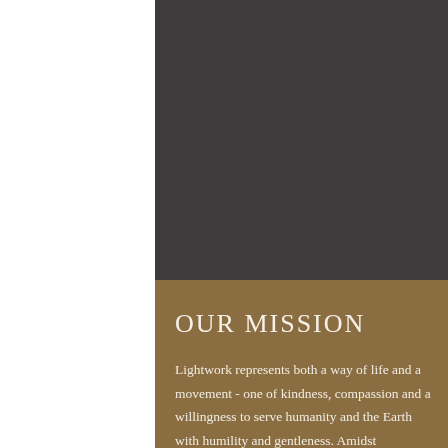[Figure (illustration): Dark charcoal gray rectangle occupying the upper right portion of the page, representing a background image or color block.]
OUR MISSION
Lightwork represents both a way of life and a movement - one of kindness, compassion and a willingness to serve humanity and the Earth with humility and gentleness. Amidst